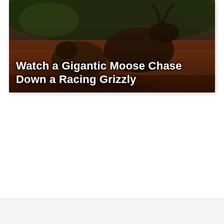[Figure (photo): A wildlife photograph showing a large moose and a grizzly bear in a reddish-brown earthy outdoor scene. The image serves as a thumbnail for a news/media article. White bold text overlaid at the bottom of the image reads: Watch a Gigantic Moose Chase Down a Racing Grizzly]
Watch a Gigantic Moose Chase Down a Racing Grizzly